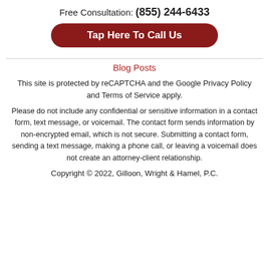Free Consultation: (855) 244-6433
[Figure (other): Dark red rounded button with white bold text 'Tap Here To Call Us']
Blog Posts
This site is protected by reCAPTCHA and the Google Privacy Policy and Terms of Service apply.
Please do not include any confidential or sensitive information in a contact form, text message, or voicemail. The contact form sends information by non-encrypted email, which is not secure. Submitting a contact form, sending a text message, making a phone call, or leaving a voicemail does not create an attorney-client relationship.
Copyright © 2022, Gilloon, Wright & Hamel, P.C.